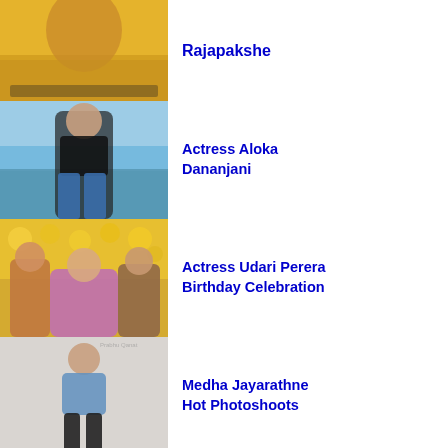[Figure (photo): Top partial row: woman in yellow outfit, partially cropped at top]
Rajapakshe
[Figure (photo): Woman in black crop top and blue jeans posing at beach]
Actress Aloka Dananjani
[Figure (photo): Couple at birthday celebration with gold balloons]
Actress Udari Perera Birthday Celebration
[Figure (photo): Woman in blue denim dress with black boots posing outdoors]
Medha Jayarathne Hot Photoshoots
[Figure (photo): Partial row at bottom, partially cropped]